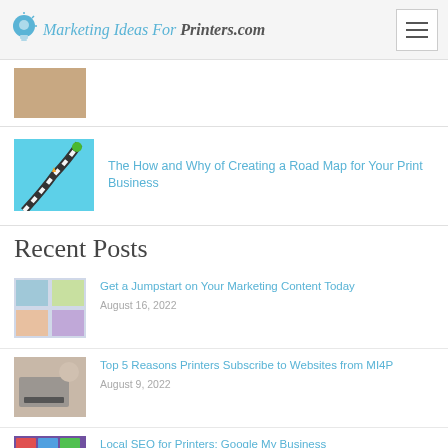Marketing Ideas For Printers.com
[Figure (screenshot): Thumbnail image of a photo (brown/skin tones)]
[Figure (illustration): Road map illustration with winding road on teal background]
The How and Why of Creating a Road Map for Your Print Business
Recent Posts
[Figure (screenshot): Grid of marketing content images]
Get a Jumpstart on Your Marketing Content Today
August 16, 2022
[Figure (screenshot): Person using laptop at desk]
Top 5 Reasons Printers Subscribe to Websites from MI4P
August 9, 2022
[Figure (photo): Hands holding phone with flags/colorful background]
Local SEO for Printers: Google My Business
August 2, 2022
[Figure (photo): Person in yellow outfit]
15 Things Your Print Buyers Want (But Can't Tell You)
July 26, 2022